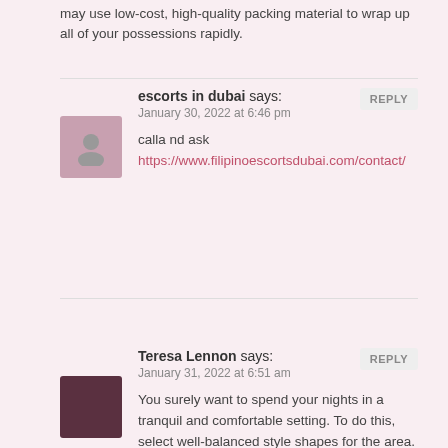may use low-cost, high-quality packing material to wrap up all of your possessions rapidly.
escorts in dubai says:
January 30, 2022 at 6:46 pm

calla nd ask
https://www.filipinoescortsdubai.com/contact/
Teresa Lennon says:
January 31, 2022 at 6:51 am

You surely want to spend your nights in a tranquil and comfortable setting. To do this, select well-balanced style shapes for the area. You will relax and get a good night's sleep if you include a room with a comfortable bed. XL twin bed